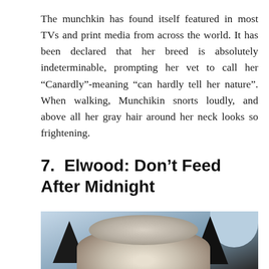The munchkin has found itself featured in most TVs and print media from across the world. It has been declared that her breed is absolutely indeterminable, prompting her vet to call her “Canardly”-meaning “can hardly tell her nature”. When walking, Munchikin snorts loudly, and above all her gray hair around her neck looks so frightening.
7. Elwood: Don’t Feed After Midnight
[Figure (photo): Close-up photo of a cat (likely Elwood) showing the top of its head with large dark pointed ears and gray/white fur, against a light blue background.]